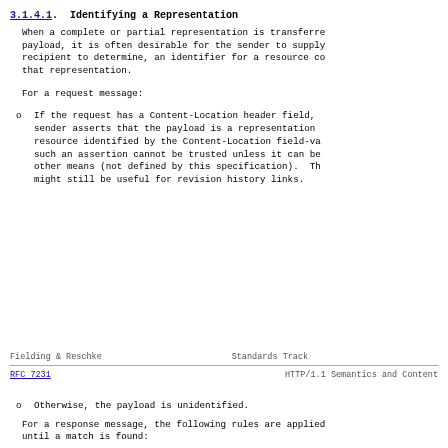3.1.4.1. Identifying a Representation
When a complete or partial representation is transferred in a message payload, it is often desirable for the sender to supply, or the recipient to determine, an identifier for a resource corresponding to that representation.
For a request message:
If the request has a Content-Location header field, then the sender asserts that the payload is a representation of the resource identified by the Content-Location field-value; however, such an assertion cannot be trusted unless it can be verified by other means (not defined by this specification). The information might still be useful for revision history links.
Fielding & Reschke                    Standards Track
RFC 7231                HTTP/1.1 Semantics and Content
Otherwise, the payload is unidentified.
For a response message, the following rules are applied in order until a match is found: